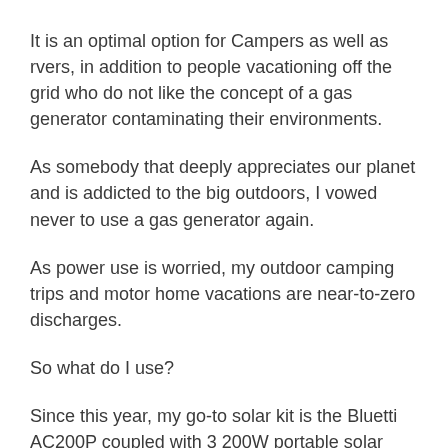It is an optimal option for Campers as well as rvers, in addition to people vacationing off the grid who do not like the concept of a gas generator contaminating their environments.
As somebody that deeply appreciates our planet and is addicted to the big outdoors, I vowed never to use a gas generator again.
As power use is worried, my outdoor camping trips and motor home vacations are near-to-zero discharges.
So what do I use?
Since this year, my go-to solar kit is the Bluetti AC200P coupled with 3 200W portable solar